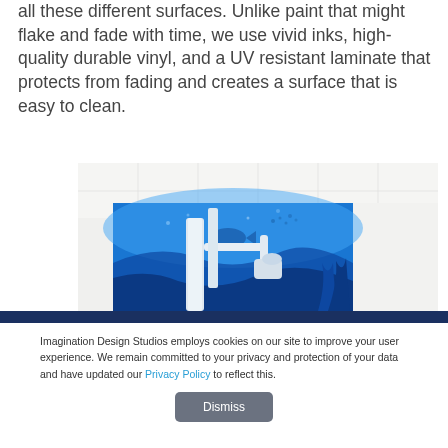all these different surfaces. Unlike paint that might flake and fade with time, we use vivid inks, high-quality durable vinyl, and a UV resistant laminate that protects from fading and creates a surface that is easy to clean.
[Figure (photo): A dental office room with dental equipment (chair arm, lamp) in the foreground and a large blue ocean-themed mural on the wall behind, showing underwater scenes with blue tones, silhouettes of sea life and plants. The ceiling is white with recessed tiles.]
Imagination Design Studios employs cookies on our site to improve your user experience. We remain committed to your privacy and protection of your data and have updated our Privacy Policy to reflect this.
Dismiss